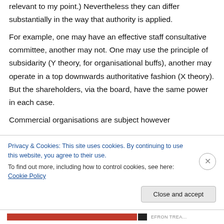relevant to my point.) Nevertheless they can differ substantially in the way that authority is applied. For example, one may have an effective staff consultative committee, another may not. One may use the principle of subsidarity (Y theory, for organisational buffs), another may operate in a top downwards authoritative fashion (X theory). But the shareholders, via the board, have the same power in each case. Commercial organisations are subject however
Privacy & Cookies: This site uses cookies. By continuing to use this website, you agree to their use. To find out more, including how to control cookies, see here: Cookie Policy